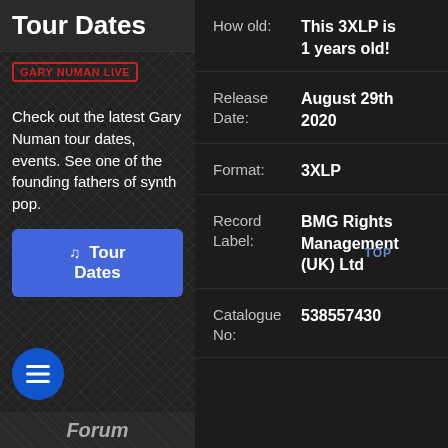Tour Dates
GARY NUMAN LIVE
Check out the latest Gary Numan tour dates, events. See one of the founding fathers of synth pop.
♫ Tour Dates
| Field | Value |
| --- | --- |
| How old: | This 3XLP is 1 years old! |
| Release Date: | August 29th 2020 |
| Format: | 3XLP |
| Record Label: | BMG Rights Management (UK) Ltd |
| Catalogue No: | 538557430 |
Forum